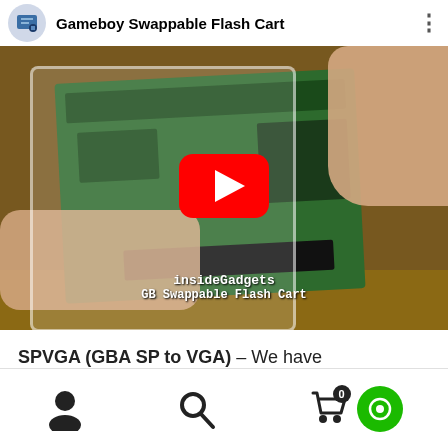[Figure (screenshot): YouTube video thumbnail showing a Gameboy Swappable Flash Cart being held in hands, green PCB circuit board visible. Video title bar at top reads 'Gameboy Swappable Flash Cart'. Red YouTube play button overlay in center. Bottom-left watermark text reads 'insideGadgets GB Swappable Flash Cart'.]
SPVGA (GBA SP to VGA) – We have AdvanceVGA for the GBA so we wanted to try doing something similar for the GBA
[Figure (screenshot): Mobile navigation bar with person/account icon, search magnifying glass icon, shopping cart icon with badge showing 0, and green circular chat icon.]